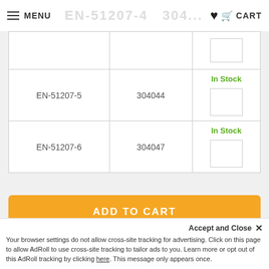MENU | (logo ghost) | CART
| Code | Number | Stock/Qty |
| --- | --- | --- |
|  |  |  |
| EN-51207-5 | 304044 | In Stock |
| EN-51207-6 | 304047 | In Stock |
ADD TO CART
To add items to your wishlist select the variant you would like to add from the
Accept and Close ×
Your browser settings do not allow cross-site tracking for advertising. Click on this page to allow AdRoll to use cross-site tracking to tailor ads to you. Learn more or opt out of this AdRoll tracking by clicking here. This message only appears once.